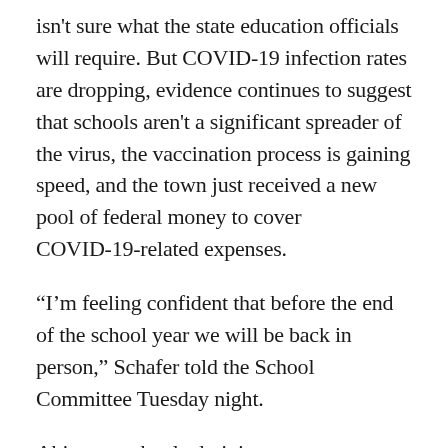isn't sure what the state education officials will require. But COVID-19 infection rates are dropping, evidence continues to suggest that schools aren't a significant spreader of the virus, the vaccination process is gaining speed, and the town just received a new pool of federal money to cover COVID-19-related expenses.
“I’m feeling confident that before the end of the school year we will be back in person,” Schafer told the School Committee Tuesday night.
Abington school administrators were already looking at ways to get students back in classrooms more, but state Education